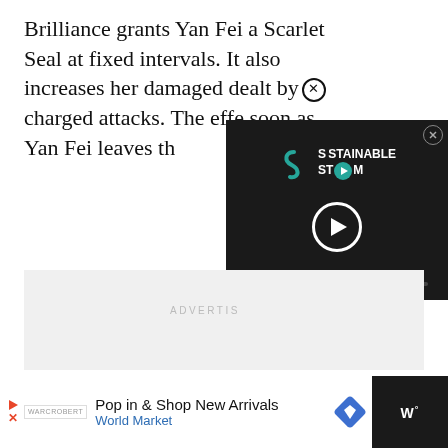Brilliance grants Yan Fei a Scarlet Seal at fixed intervals. It also increases her damaged dealt by ⊗ charged attacks. The effe... soon as Yan Fei leaves th...
[Figure (screenshot): Video overlay showing a media player with 'Sustainable Stream' branding, a play button, and a progress bar. Has a close (X) button in top right corner.]
ADVERTIS...
[Figure (screenshot): Advertisement banner at the bottom: dark background with a red play/close button, advertiser logo, text 'Pop in & Shop New Arrivals' and 'World Market', a blue diamond navigation icon, and a dark right panel with W° logo.]